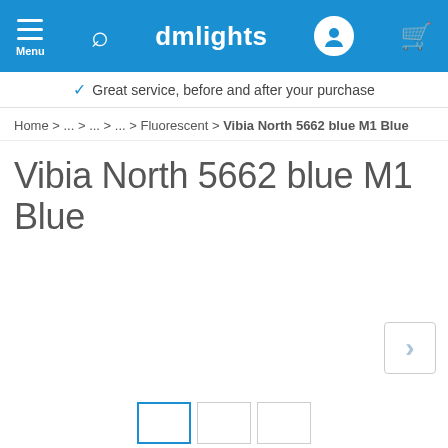dmlights
Great service, before and after your purchase
Home > ... > ... > ... > Fluorescent > Vibia North 5662 blue M1 Blue
Vibia North 5662 blue M1 Blue
[Figure (other): Product image area with navigation arrow and thumbnail strip at the bottom]